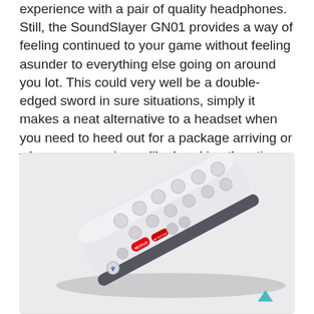experience with a pair of quality headphones. Still, the SoundSlayer GN01 provides a way of feeling continued to your game without feeling asunder to everything else going on around you lot. This could very well be a double-edged sword in sure situations, simply it makes a neat alternative to a headset when you need to heed out for a package arriving or when you experience like breaking the stigma of gamers beingness antisocial shut-ins.
[Figure (photo): A white PlayStation 5 media remote control photographed at an angle on a light gray/white background. The remote has rounded ends, multiple circular buttons, and visible Netflix and YouTube buttons in the lower section. A PlayStation logo is visible near the bottom.]